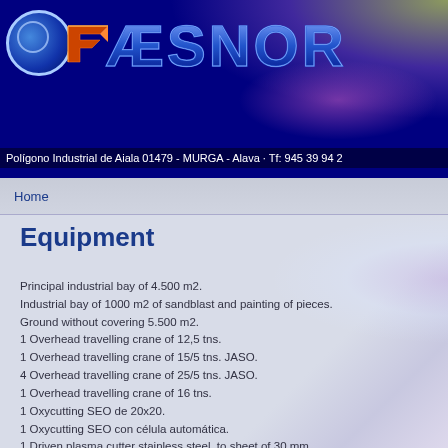[Figure (logo): Faesnor company logo banner with dark blue background, orange F-arrow logo, circle emblem, FAESNOR text in blue outline, and colorful light glow effects]
Polígono Industrial de Aiala 01479 - MURGA - Alava · Tf: 945 39 94 2
Home
Equipment
Principal industrial bay of 4.500 m2.
Industrial bay of 1000 m2 of sandblast and painting of pieces.
Ground without covering 5.500 m2.
1 Overhead travelling crane of 12,5 tns.
1 Overhead travelling crane of 15/5 tns. JASO.
4 Overhead travelling crane of 25/5 tns. JASO.
1 Overhead travelling crane of 16 tns.
1 Oxycutting SEO de 20x20.
1 Oxycutting SEO con célula automática.
1 Driven plasma cutter stainless steel, to sheet of 30 mm.
1 Shears BRG x 3000.